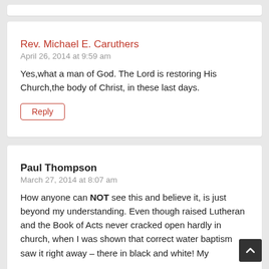Rev. Michael E. Caruthers
April 26, 2014 at 9:59 am

Yes,what a man of God. The Lord is restoring His Church,the body of Christ, in these last days.

Reply
Paul Thompson
March 27, 2014 at 8:07 am

How anyone can NOT see this and believe it, is just beyond my understanding. Even though raised Lutheran and the Book of Acts never cracked open hardly in church, when I was shown that correct water baptism saw it right away – there in black and white! My